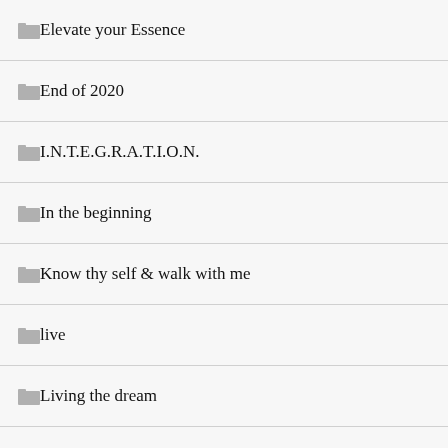Elevate your Essence
End of 2020
I.N.T.E.G.R.A.T.I.O.N.
In the beginning
Know thy self & walk with me
live
Living the dream
MEDIA DIARRHOEA
Mind & Soul Work
mine your mind for a positive progression